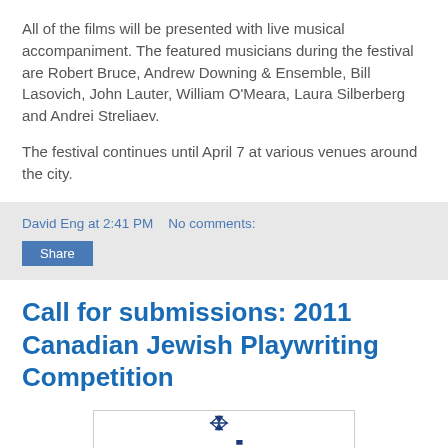All of the films will be presented with live musical accompaniment. The featured musicians during the festival are Robert Bruce, Andrew Downing & Ensemble, Bill Lasovich, John Lauter, William O'Meara, Laura Silberberg and Andrei Streliaev.
The festival continues until April 7 at various venues around the city.
David Eng at 2:41 PM   No comments:
Share
Call for submissions: 2011 Canadian Jewish Playwriting Competition
[Figure (logo): Milton Neighborly JCC logo with Star of David and bold JCC text]